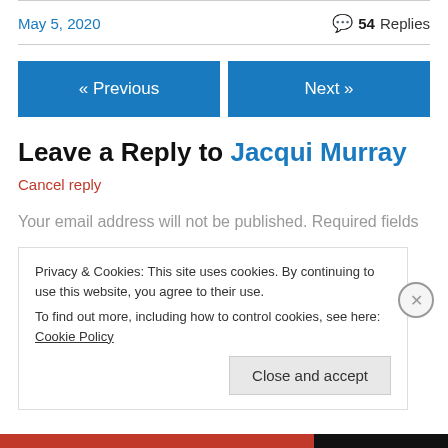May 5, 2020
54 Replies
« Previous
Next »
Leave a Reply to Jacqui Murray
Cancel reply
Your email address will not be published. Required fields
Privacy & Cookies: This site uses cookies. By continuing to use this website, you agree to their use.
To find out more, including how to control cookies, see here: Cookie Policy
Close and accept